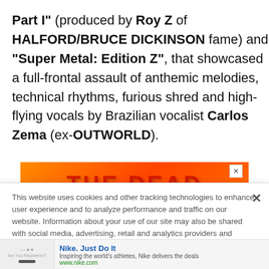Part I" (produced by Roy Z of HALFORD/BRUCE DICKINSON fame) and "Super Metal: Edition Z", that showcased a full-frontal assault of anthemic melodies, technical rhythms, furious shred and high-flying vocals by Brazilian vocalist Carlos Zema (ex-OUTWORLD).
[Figure (other): Orange/red advertisement banner showing THE DEAD text with close button]
This website uses cookies and other tracking technologies to enhance user experience and to analyze performance and traffic on our website. Information about your use of our site may also be shared with social media, advertising, retail and analytics providers and partners. Privacy Policy
[Figure (other): Nike advertisement: Nike. Just Do It. Inspiring the world's athletes, Nike delivers the deals. www.nike.com]